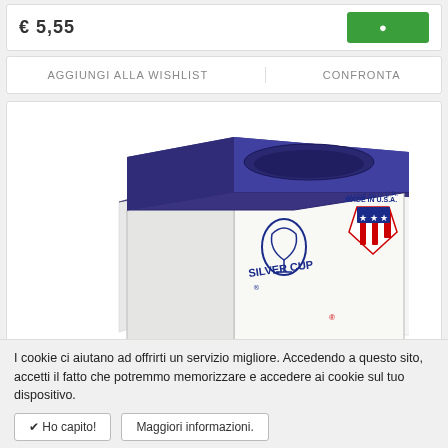€ 5,55
AGGIUNGI ALLA WISHLIST
CONFRONTA
[Figure (photo): Silver Cup billiard cue chalk cube, purple/blue top with concave center, white sides with Silver Cup logo and Made in USA shield badge]
I cookie ci aiutano ad offrirti un servizio migliore. Accedendo a questo sito, accetti il fatto che potremmo memorizzare e accedere ai cookie sul tuo dispositivo.
✔ Ho capito!
Maggiori informazioni.